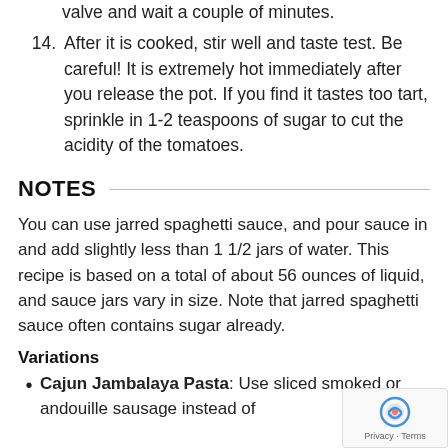valve and wait a couple of minutes.
14. After it is cooked, stir well and taste test. Be careful! It is extremely hot immediately after you release the pot. If you find it tastes too tart, sprinkle in 1-2 teaspoons of sugar to cut the acidity of the tomatoes.
NOTES
You can use jarred spaghetti sauce, and pour sauce in and add slightly less than 1 1/2 jars of water. This recipe is based on a total of about 56 ounces of liquid, and sauce jars vary in size. Note that jarred spaghetti sauce often contains sugar already.
Variations
Cajun Jambalaya Pasta: Use sliced smoked or andouille sausage instead of